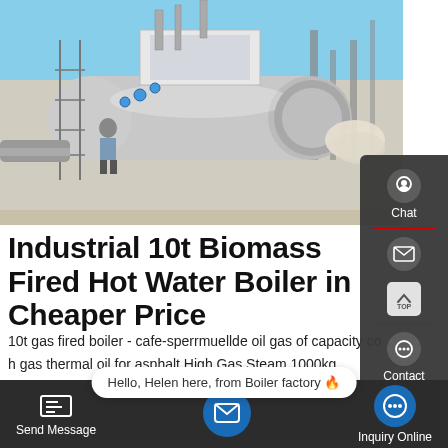[Figure (photo): Industrial biomass fired hot water boiler, large cylindrical silver boiler with pipes, scaffolding, and a worker visible, photographed outdoors against a blue sky]
Industrial 10t Biomass Fired Hot Water Boiler in Cheaper Price
10t gas fired boiler - cafe-sperrmuellde oil gas of capacity co h gas thermal oil for asphalt High Gas Steam 1000kg 1000kg/h USD Company Profile Henan Yuanda Co Ltd ever since the foundation in the year of 1956 been manufacturing ranging